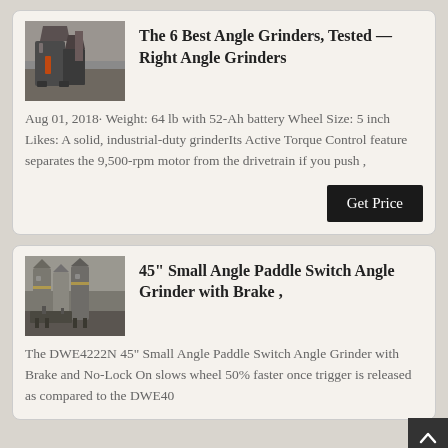[Figure (photo): Industrial angle grinder machine, dark grey metallic equipment]
The 6 Best Angle Grinders, Tested — Right Angle Grinders
Aug 01, 2018· Weight: 64 lb with 52-Ah battery Wheel Size: 5 inch Likes: A solid, industrial-duty grinderIts Active Torque Control feature separates the 9,500-rpm motor from the drivetrain if you push ,
[Figure (photo): Industrial machinery with silos/hoppers, dark metal equipment]
45" Small Angle Paddle Switch Angle Grinder with Brake ,
The DWE4222N 45" Small Angle Paddle Switch Angle Grinder with Brake and No-Lock On slows wheel 50% faster once trigger is released as compared to the DWE40